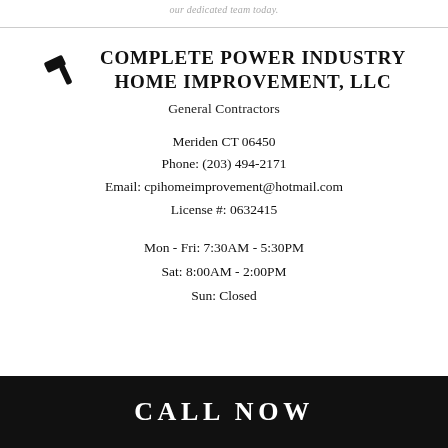our dedicated team today.
COMPLETE POWER INDUSTRY HOME IMPROVEMENT, LLC
General Contractors
Meriden CT 06450
Phone: (203) 494-2171
Email: cpihomeimprovement@hotmail.com
License #: 0632415
Mon - Fri: 7:30AM - 5:30PM
Sat: 8:00AM - 2:00PM
Sun: Closed
CALL NOW